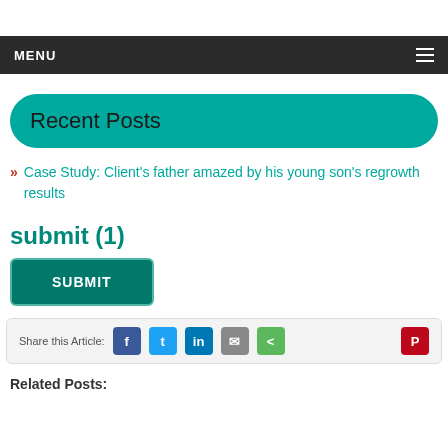MENU
Recent Posts
» Case Study: Client's father amazed by his young son's regrowth results
submit (1)
SUBMIT
Share this Article:
Related Posts: